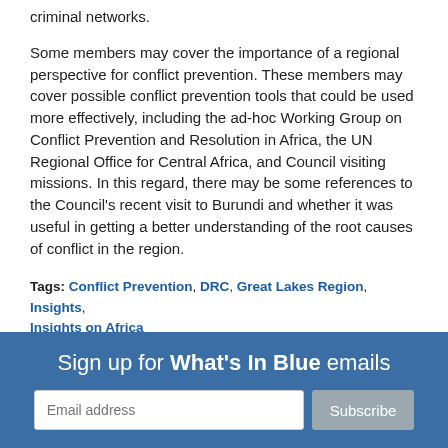criminal networks.
Some members may cover the importance of a regional perspective for conflict prevention. These members may cover possible conflict prevention tools that could be used more effectively, including the ad-hoc Working Group on Conflict Prevention and Resolution in Africa, the UN Regional Office for Central Africa, and Council visiting missions. In this regard, there may be some references to the Council's recent visit to Burundi and whether it was useful in getting a better understanding of the root causes of conflict in the region.
Tags: Conflict Prevention, DRC, Great Lakes Region, Insights, Insights on Africa
Sign up for What's In Blue emails